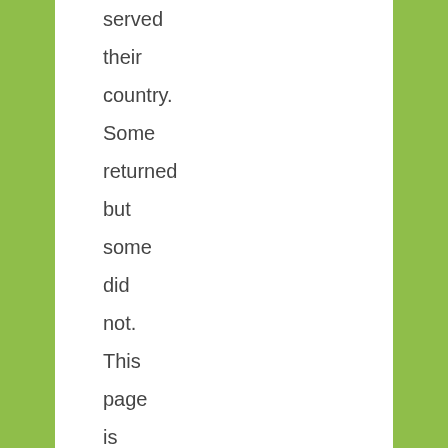served their country. Some returned but some did not. This page is a tribute to all of my family members who fought to